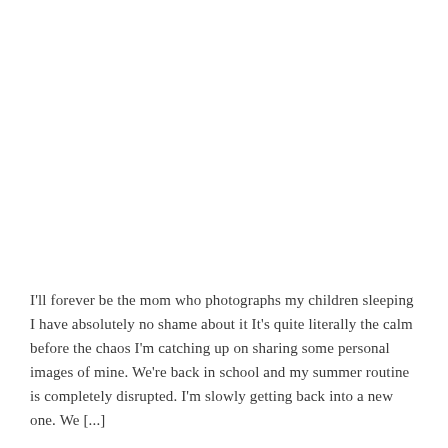I'll forever be the mom who photographs my children sleeping I have absolutely no shame about it It's quite literally the calm before the chaos I'm catching up on sharing some personal images of mine. We're back in school and my summer routine is completely disrupted. I'm slowly getting back into a new one. We [...]